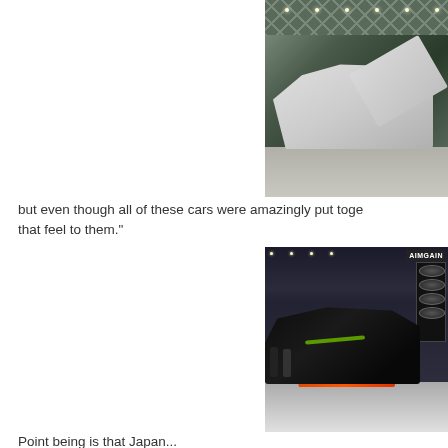[Figure (photo): White modified car (Nissan Skyline R34) with hood open, displayed at an indoor car show with lattice ceiling and dark green/teal backdrop]
but even though all of these cars were amazingly put together, that feel to them."
[Figure (photo): Indoor car show booth for AIMGAIN brand showing multiple supercars including orange and black carbon fiber vehicles on white floor display]
Point being is that Japan...